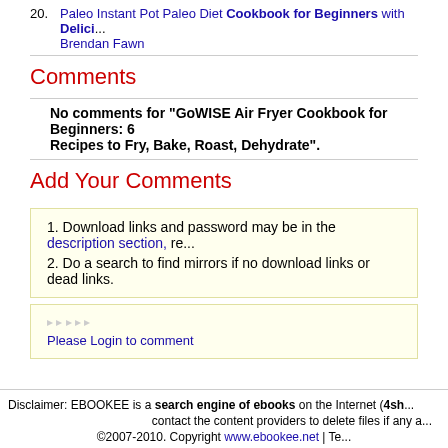20. Paleo Instant Pot Paleo Diet Cookbook for Beginners with Delici... Brendan Fawn
Comments
No comments for "GoWISE Air Fryer Cookbook for Beginners: 6 Recipes to Fry, Bake, Roast, Dehydrate".
Add Your Comments
1. Download links and password may be in the description section, re...
2. Do a search to find mirrors if no download links or dead links.
Please Login to comment
Disclaimer: EBOOKEE is a search engine of ebooks on the Internet (4sh... contact the content providers to delete files if any a... ©2007-2010. Copyright www.ebookee.net | Te...